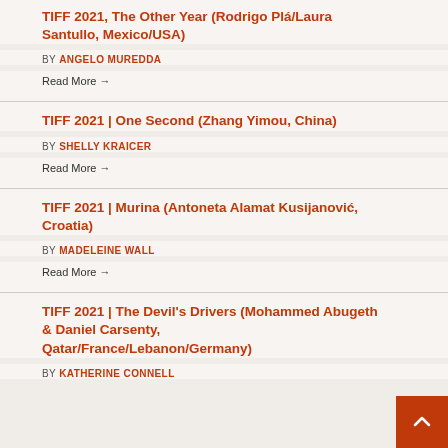TIFF 2021, The Other Year (Rodrigo Plá/Laura Santullo, Mexico/USA)
BY ANGELO MUREDDA
Read More →
TIFF 2021 | One Second (Zhang Yimou, China)
BY SHELLY KRAICER
Read More →
TIFF 2021 | Murina (Antoneta Alamat Kusijanović, Croatia)
BY MADELEINE WALL
Read More →
TIFF 2021 | The Devil's Drivers (Mohammed Abugeth & Daniel Carsenty, Qatar/France/Lebanon/Germany)
BY KATHERINE CONNELL